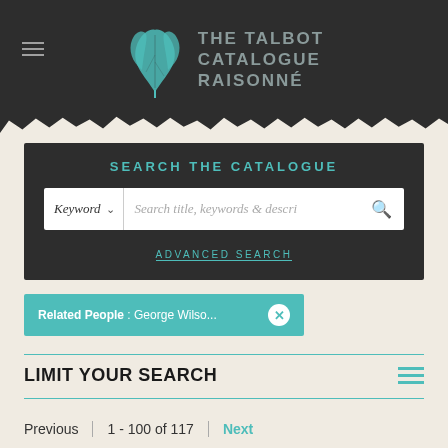[Figure (logo): The Talbot Catalogue Raisonné logo with teal leaf illustration and grey text on dark background]
SEARCH THE CATALOGUE
Keyword | Search title, keywords & descri
ADVANCED SEARCH
Related People : George Wilso...
LIMIT YOUR SEARCH
Previous | 1 - 100 of 117 | Next